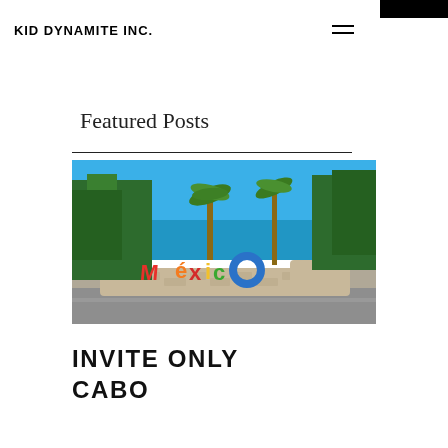KID DYNAMITE INC.
Featured Posts
[Figure (photo): Outdoor Mexico sign landmark with colorful letters spelling 'México', surrounded by palm trees and tropical vegetation under a bright blue sky.]
INVITE ONLY CABO